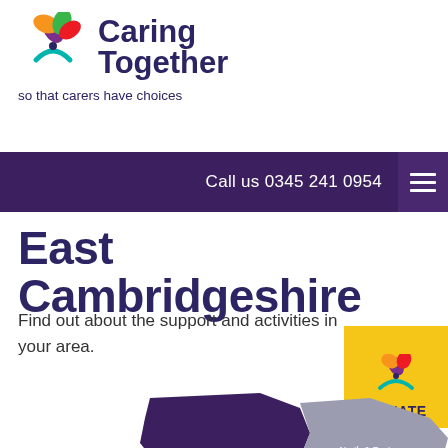[Figure (logo): Caring Together logo with colourful leaf/figure icon and tagline 'so that carers have choices']
Call us 0345 241 0954
East Cambridgeshire
Find out about the support and activities in your area.
[Figure (logo): Caring Together donate button logo on yellow background with DONATE text]
[Figure (map): Partial map showing East Cambridgeshire (dark purple) and North & East Norfolk (grey) regions]